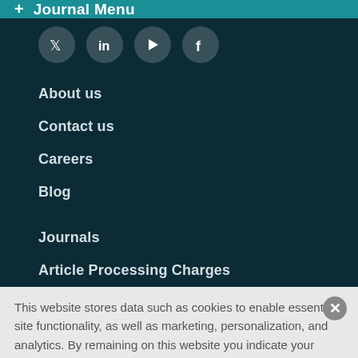+ Journal Menu
[Figure (illustration): Social media icon buttons (Twitter, LinkedIn, YouTube, Facebook) on dark background, partially visible at top]
About us
Contact us
Careers
Blog
Journals
Article Processing Charges
This website stores data such as cookies to enable essential site functionality, as well as marketing, personalization, and analytics. By remaining on this website you indicate your consent. Cookie Policy